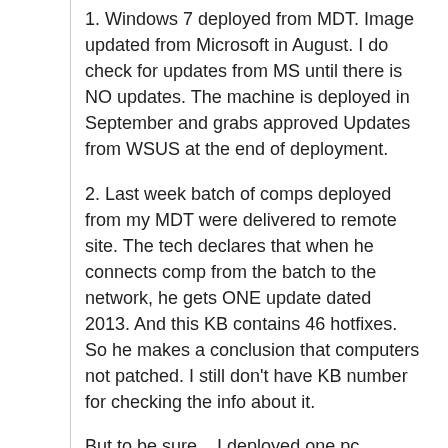1. Windows 7 deployed from MDT. Image updated from Microsoft in August. I do check for updates from MS until there is NO updates. The machine is deployed in September and grabs approved Updates from WSUS at the end of deployment.
2. Last week batch of comps deployed from my MDT were delivered to remote site. The tech declares that when he connects comp from the batch to the network, he gets ONE update dated 2013. And this KB contains 46 hotfixes. So he makes a conclusion that computers not patched. I still don't have KB number for checking the info about it.
But to be sure... I deployed one pc. Connected to Internet and checked for updates. Two .net updates were